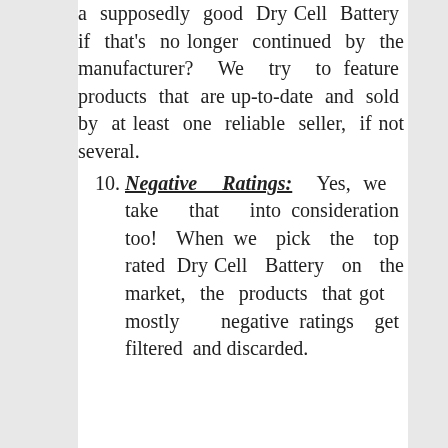a supposedly good Dry Cell Battery if that's no longer continued by the manufacturer? We try to feature products that are up-to-date and sold by at least one reliable seller, if not several.
10. Negative Ratings: Yes, we take that into consideration too! When we pick the top rated Dry Cell Battery on the market, the products that got mostly negative ratings get filtered and discarded.